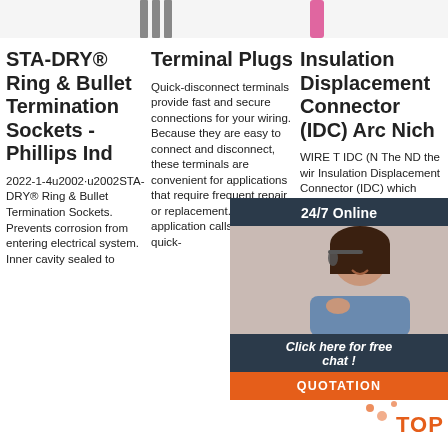[Figure (photo): Partial product images at top of page (connectors/terminals)]
STA-DRY® Ring & Bullet Termination Sockets - Phillips Ind
2022-1-4u2002·u2002STA-DRY® Ring & Bullet Termination Sockets. Prevents corrosion from entering electrical system. Inner cavity sealed to
Terminal Plugs
Quick-disconnect terminals provide fast and secure connections for your wiring. Because they are easy to connect and disconnect, these terminals are convenient for applications that require frequent repair or replacement. When an application calls for a 1/4 ' quick-
Insulation Displacement Connector (IDC) Arc Nich
WIRE T IDC (N The ND the wir Insulation Displacement Connector (IDC) which eliminates the process of stripping and crimping contacts onto a wire. The
[Figure (photo): Customer support representative with headset. Overlay with '24/7 Online', 'Click here for free chat!', and 'QUOTATION' button.]